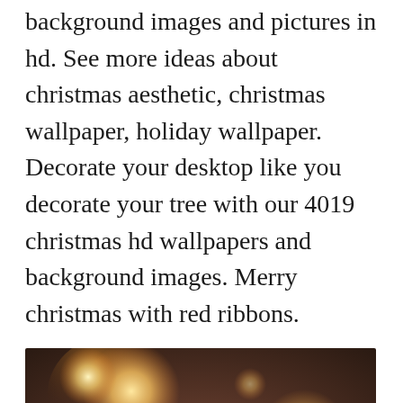background images and pictures in hd. See more ideas about christmas aesthetic, christmas wallpaper, holiday wallpaper. Decorate your desktop like you decorate your tree with our 4019 christmas hd wallpapers and background images. Merry christmas with red ribbons.
[Figure (photo): Bokeh photograph showing warm golden circular light orbs against a dark brown/amber blurred background, with a close/dismiss button (circled X) at the bottom center.]